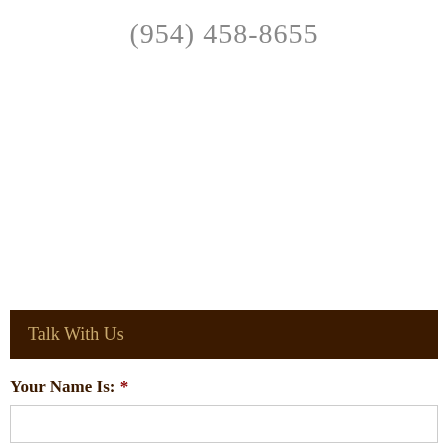(954) 458-8655
Talk With Us
Your Name Is:  *